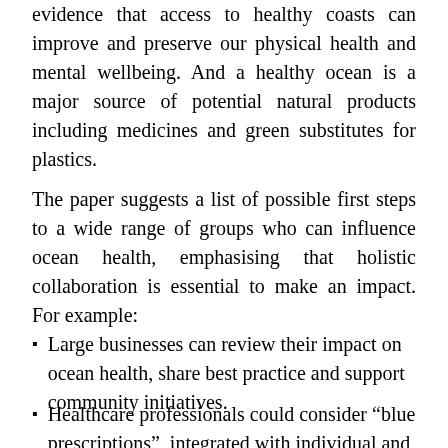evidence that access to healthy coasts can improve and preserve our physical health and mental wellbeing. And a healthy ocean is a major source of potential natural products including medicines and green substitutes for plastics.
The paper suggests a list of possible first steps to a wide range of groups who can influence ocean health, emphasising that holistic collaboration is essential to make an impact. For example:
Large businesses can review their impact on ocean health, share best practice and support community initiatives.
Healthcare professionals could consider “blue prescriptions”, integrated with individual and community mental health initiatives.